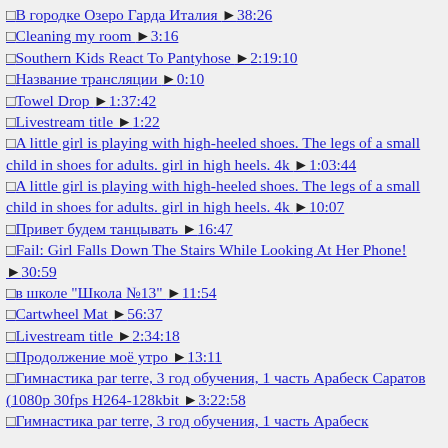□В городке Озеро Гарда Италия ▶38:26
□Cleaning my room ▶3:16
□Southern Kids React To Pantyhose ▶2:19:10
□Название трансляции ▶0:10
□Towel Drop ▶1:37:42
□Livestream title ▶1:22
□A little girl is playing with high-heeled shoes. The legs of a small child in shoes for adults. girl in high heels. 4k ▶1:03:44
□A little girl is playing with high-heeled shoes. The legs of a small child in shoes for adults. girl in high heels. 4k ▶10:07
□Привет будем танцывать ▶16:47
□Fail: Girl Falls Down The Stairs While Looking At Her Phone! ▶30:59
□в школе "Школа №13" ▶11:54
□Cartwheel Mat ▶56:37
□Livestream title ▶2:34:18
□Продолжение моё утро ▶13:11
□Гимнастика par terre, 3 год обучения, 1 часть Арабеск Саратов (1080p 30fps H264-128kbit ▶3:22:58
□Гимнастика par terre, 3 год обучения, 1 часть Арабеск